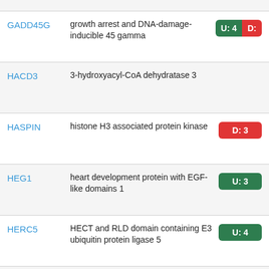GADD45G | growth arrest and DNA-damage-inducible 45 gamma | U: 4 D: (partial)
HACD3 | 3-hydroxyacyl-CoA dehydratase 3
HASPIN | histone H3 associated protein kinase | D: 3
HEG1 | heart development protein with EGF-like domains 1 | U: 3
HERC5 | HECT and RLD domain containing E3 ubiquitin protein ligase 5 | U: 4
HEXIM1 | hexamethylene bis- | U: 1